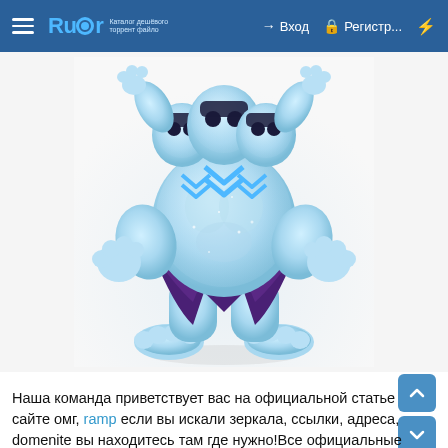≡ Rutor → Вход  Регистр...  ⚡
[Figure (photo): A light blue translucent glittery toy monster/character figure with blue chevron markings on its chest, three heads, muscular body, clawed hands and feet, wearing dark purple shorts/pants. Standing in a wide stance on a white/light grey background.]
Наша команда приветствует вас на официальной статье сайте омг, ramp если вы искали зеркала, ссылки, адреса, domenite вы находитесь там где нужно!Все официальные ос